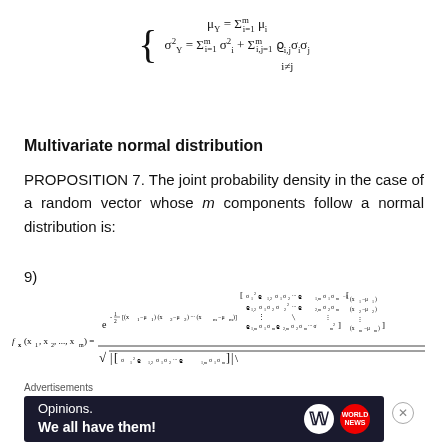Multivariate normal distribution
PROPOSITION 7. The joint probability density in the case of a random vector whose m components follow a normal distribution is: